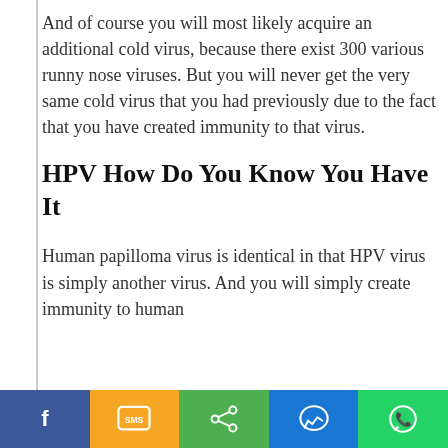And of course you will most likely acquire an additional cold virus, because there exist 300 various runny nose viruses. But you will never get the very same cold virus that you had previously due to the fact that you have created immunity to that virus.
HPV How Do You Know You Have It
Human papilloma virus is identical in that HPV virus is simply another virus. And you will simply create immunity to human
[Figure (other): Social share bar with Facebook, SMS, Share, Messenger, and WhatsApp buttons]